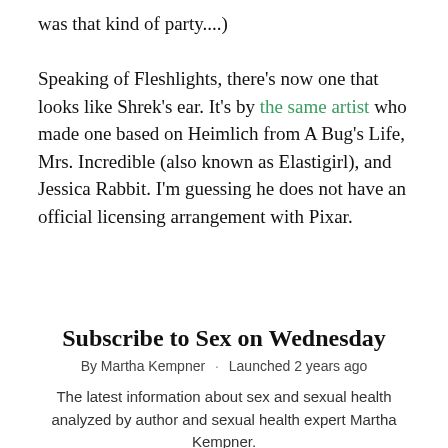was that kind of party....)
Speaking of Fleshlights, there's now one that looks like Shrek's ear. It's by the same artist who made one based on Heimlich from A Bug's Life, Mrs. Incredible (also known as Elastigirl), and Jessica Rabbit. I'm guessing he does not have an official licensing arrangement with Pixar.
Subscribe to Sex on Wednesday
By Martha Kempner · Launched 2 years ago
The latest information about sex and sexual health analyzed by author and sexual health expert Martha Kempner.